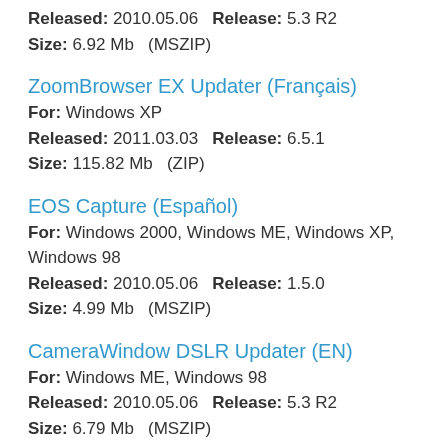Released: 2010.05.06   Release: 5.3 R2
Size: 6.92 Mb   (MSZIP)
ZoomBrowser EX Updater (Français)
For: Windows XP
Released: 2011.03.03   Release: 6.5.1
Size: 115.82 Mb   (ZIP)
EOS Capture (Español)
For: Windows 2000, Windows ME, Windows XP, Windows 98
Released: 2010.05.06   Release: 1.5.0
Size: 4.99 Mb   (MSZIP)
CameraWindow DSLR Updater (EN)
For: Windows ME, Windows 98
Released: 2010.05.06   Release: 5.3 R2
Size: 6.79 Mb   (MSZIP)
EOS Capture (Español)
For: Mac OS X
Released: 2010.05.06   Release: 1.2.0
Size: 4.12 Mb